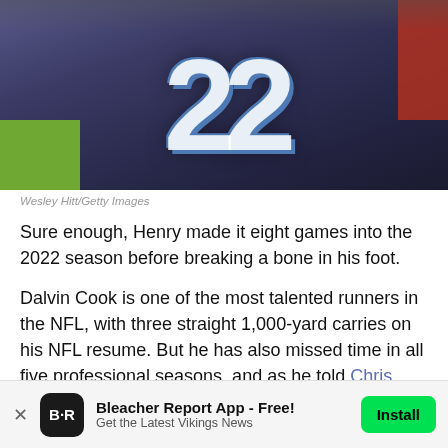[Figure (photo): Football player wearing navy blue jersey with number 22, shown from chest down, on a green field background]
Wesley Hitt/Getty Images
Sure enough, Henry made it eight games into the 2022 season before breaking a bone in his foot.
Dalvin Cook is one of the most talented runners in the NFL, with three straight 1,000-yard carries on his NFL resume. But he has also missed time in all five professional seasons, and as he told Chris Tomasson of the St. Paul Pioneer-Press, the reality is that running back may well be the most fragile position in the game.
[Figure (infographic): Bleacher Report App advertisement banner - Free app install prompt with logo, title 'Bleacher Report App - Free!', subtitle 'Get the Latest Vikings News', and green Install button]